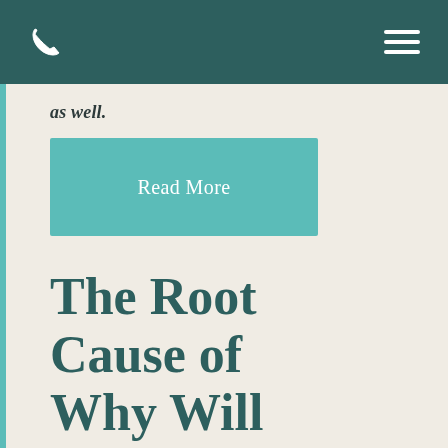as well.
Read More
The Root Cause of Why Will Smith